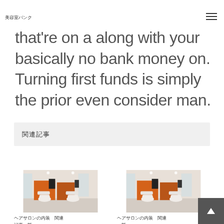美容室バンク
that're on a along with your basically no bank money on. Turning first funds is simply the prior even consider man.
関連記事
[Figure (photo): Interior of a hair salon with orange cabinetry and white chairs]
ヘアサロンの内装 関連 記事一覧
[Figure (photo): Interior of a hair salon with orange cabinetry and white chairs, similar view]
ヘアサロンの内装 関連 記事 一覧